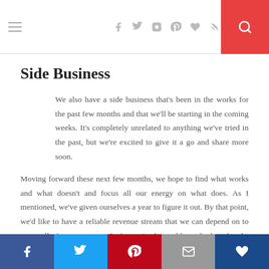Navigation bar with hamburger menu, social icons (facebook, twitter, instagram, pinterest, heart, rss), and search button
Side Business
We also have a side business that's been in the works for the past few months and that we'll be starting in the coming weeks. It's completely unrelated to anything we've tried in the past, but we're excited to give it a go and share more soon.
Moving forward these next few months, we hope to find what works and what doesn't and focus all our energy on what does. As I mentioned, we've given ourselves a year to figure it out. By that point, we'd like to have a reliable revenue stream that we can depend on to cover all of our expenses. So far, we've been able to do that already, but not in a way that's as stable as we'd like.
We're under no impression that this will be an easy or quick
Social share bar: Facebook, Twitter, Pinterest, Email, Bloglovin